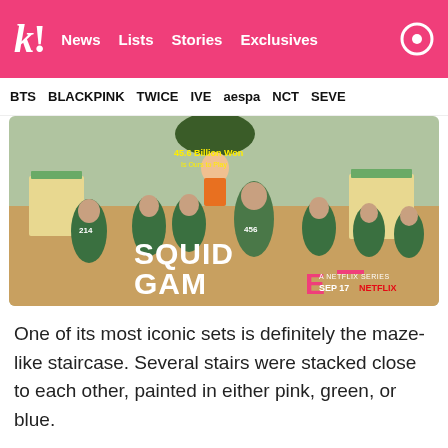k! News Lists Stories Exclusives
BTS BLACKPINK TWICE IVE aespa NCT SEVE
[Figure (photo): Squid Game Netflix series promotional poster showing contestants in green tracksuits running, with the Squid Game logo and 'A Netflix Series Sep 17' text. Text overlay reads '45.6 Billion Won Is Ours to Play'.]
One of its most iconic sets is definitely the maze-like staircase. Several stairs were stacked close to each other, painted in either pink, green, or blue.